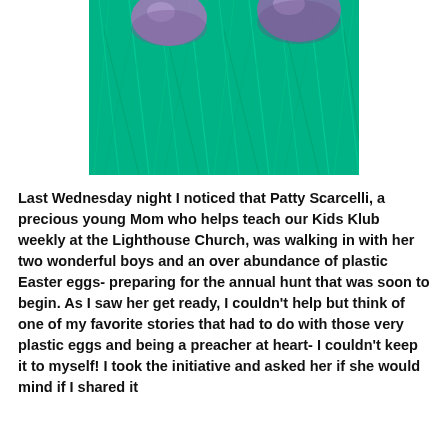[Figure (photo): Close-up photo of green Easter grass (shredded green paper/plastic) with purple plastic Easter eggs visible at the top.]
Last Wednesday night I noticed that Patty Scarcelli, a precious young Mom who helps teach our Kids Klub weekly at the Lighthouse Church, was walking in with her two wonderful boys and an over abundance of plastic Easter eggs- preparing for the annual hunt that was soon to begin.  As I saw her get ready, I couldn't help but think of one of my favorite stories that had to do with those very plastic eggs and being a preacher at heart- I couldn't keep it to myself!  I took the initiative and asked her if she would mind if I shared it with her before the coming hunt - Patty listened...